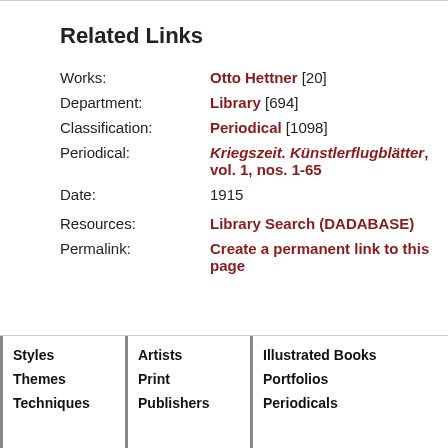Related Links
| Works: | Otto Hettner [20] |
| Department: | Library [694] |
| Classification: | Periodical [1098] |
| Periodical: | Kriegszeit. Künstlerflugblätter, vol. 1, nos. 1-65 |
| Date: | 1915 |
| Resources: | Library Search (DADABASE) |
| Permalink: | Create a permanent link to this page |
Styles
Themes
Techniques
Artists
Print
Publishers
Illustrated Books
Portfolios
Periodicals